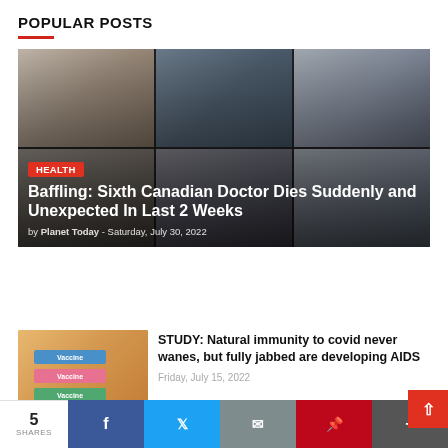POPULAR POSTS
[Figure (photo): Featured news card with three doctors' photos in a grid, showing a woman, a man in a suit, and a man with glasses in top row; three more people in bottom row. Dark overlay with article title text.]
Baffling: Sixth Canadian Doctor Dies Suddenly and Unexpected In Last 2 Weeks
by Planet Today - Saturday, July 30, 2022
[Figure (photo): Thumbnail image of a person's arm with three vaccine bandage stickers (blue, pink, green) on a yellow shirt.]
STUDY: Natural immunity to covid never wanes, but fully jabbed are developing AIDS
Friday, July 15, 2022